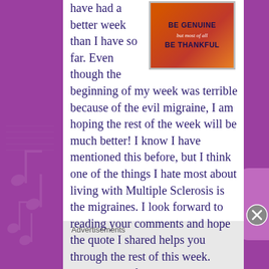[Figure (illustration): Motivational quote image with orange/red background reading 'BE GENUINE but most of all BE THANKFUL']
have had a better week than I have so far. Even though the beginning of my week was terrible because of the evil migraine, I am hoping the rest of the week will be much better! I know I have mentioned this before, but I think one of the things I hate most about living with Multiple Sclerosis is the migraines. I look forward to reading your comments and hope the quote I shared helps you through the rest of this week. Please never forget that I am always sending y'all LOTS of love, comfort, support, and MANY positive vibes!
Advertisements